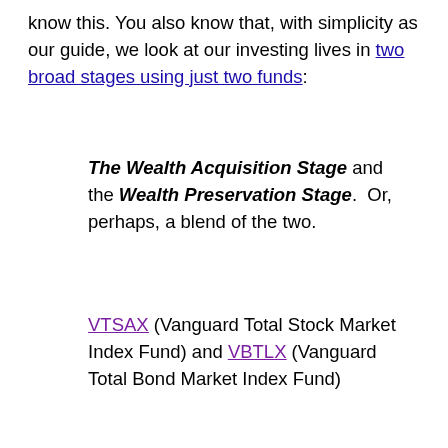know this. You also know that, with simplicity as our guide, we look at our investing lives in two broad stages using just two funds:
The Wealth Acquisition Stage and the Wealth Preservation Stage. Or, perhaps, a blend of the two.
VTSAX (Vanguard Total Stock Market Index Fund) and VBTLX (Vanguard Total Bond Market Index Fund)
The wealth acquisition stage is when you are working and have earned income to save and invest. For this stage I favor 100% stocks and VTSAX is the fund I prefer. If financial independence is your goal, your savings rate in these years should be high. As you invest